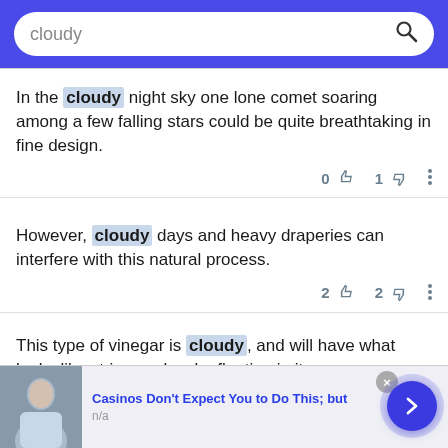[Figure (screenshot): Search bar with query 'cloudy' on blue background]
In the cloudy night sky one lone comet soaring among a few falling stars could be quite breathtaking in fine design.
0  1  (vote icons)
However, cloudy days and heavy draperies can interfere with this natural process.
2  2  (vote icons)
This type of vinegar is cloudy, and will have what looks like stringy cobwebs floating in it.
1  1  (vote icons)
[Figure (infographic): Advertisement bar: Casinos Don't Expect You to Do This; but, n/a, with image and arrow button]